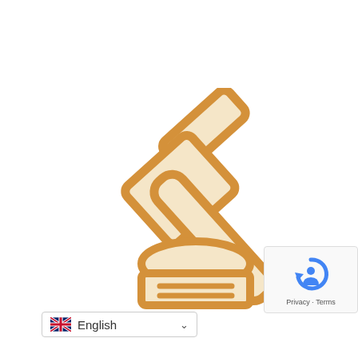[Figure (illustration): Orange outline icon of a judge's gavel (mallet) above a sound block/base, rendered in golden-orange color with cream/white fill]
[Figure (logo): reCAPTCHA widget box in bottom-right showing the reCAPTCHA logo (circular arrow with person) and Privacy - Terms links]
English (language selector dropdown with UK flag)